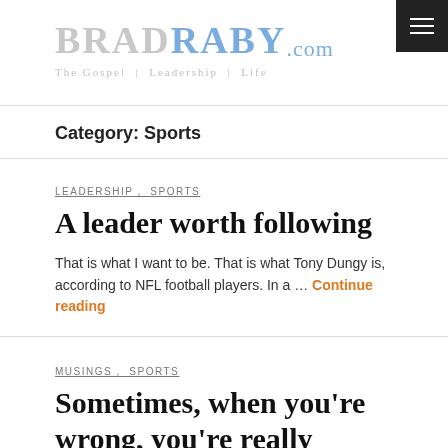BRADRABY.com — The Gospel | Leadership | Life
Category: Sports
LEADERSHIP , SPORTS
A leader worth following
That is what I want to be. That is what Tony Dungy is, according to NFL football players. In a … Continue reading
MUSINGS , SPORTS
Sometimes, when you're wrong, you're really wrong